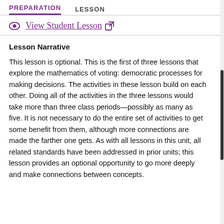PREPARATION   LESSON
View Student Lesson ↗
Lesson Narrative
This lesson is optional. This is the first of three lessons that explore the mathematics of voting: democratic processes for making decisions. The activities in these lesson build on each other. Doing all of the activities in the three lessons would take more than three class periods—possibly as many as five. It is not necessary to do the entire set of activities to get some benefit from them, although more connections are made the farther one gets. As with all lessons in this unit, all related standards have been addressed in prior units; this lesson provides an optional opportunity to go more deeply and make connections between concepts.